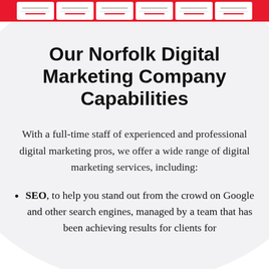[header card thumbnails bar]
Our Norfolk Digital Marketing Company Capabilities
With a full-time staff of experienced and professional digital marketing pros, we offer a wide range of digital marketing services, including:
SEO, to help you stand out from the crowd on Google and other search engines, managed by a team that has been achieving results for clients for